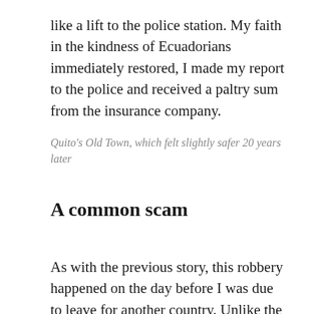like a lift to the police station. My faith in the kindness of Ecuadorians immediately restored, I made my report to the police and received a paltry sum from the insurance company.
Quito's Old Town, which felt slightly safer 20 years later
A common scam
As with the previous story, this robbery happened on the day before I was due to leave for another country. Unlike the previous story,